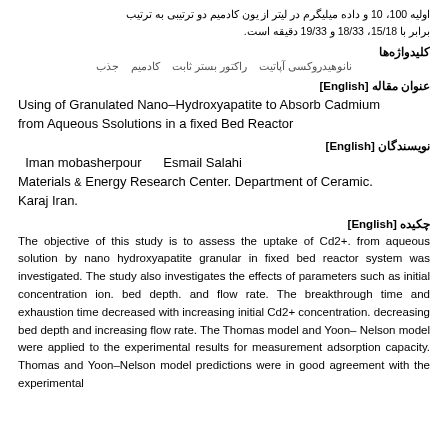اولیه 100، 10 و داده میلیگرم در لیتر از یون کادمیم دو ترتیبی به ترتیب برابر با 15/18، 18/33 و 19/33 دقیقه است.
کلیدواژهها
نانوهیدروکسی آپاتیت   جذب   کادمیم   راکتور بستر ثابت
عنوان مقاله [English]
Using of Granulated Nano–Hydroxyapatite to Absorb Cadmium from Aqueous Ssolutions in a fixed Bed Reactor
نویسندگان [English]
Iman mobasherpour    Esmail Salahi
Materials & Energy Research Center. Department of Ceramic. Karaj Iran.
چکیده [English]
The objective of this study is to assess the uptake of Cd2+. from aqueous solution by nano hydroxyapatite granular in fixed bed reactor system was investigated. The study also investigates the effects of parameters such as initial concentration ion. bed depth. and flow rate. The breakthrough time and exhaustion time decreased with increasing initial Cd2+ concentration. decreasing bed depth and increasing flow rate. The Thomas model and Yoon–Nelson model were applied to the experimental results for measurement adsorption capacity. Thomas and Yoon–Nelson model predictions were in good agreement with the experimental